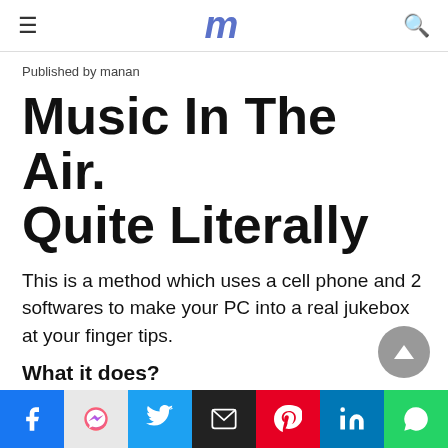≡  m  🔍
Published by manan
Music In The Air. Quite Literally
This is a method which uses a cell phone and 2 softwares to make your PC into a real jukebox at your finger tips.
What it does?
It allows you to play music through your PC in your